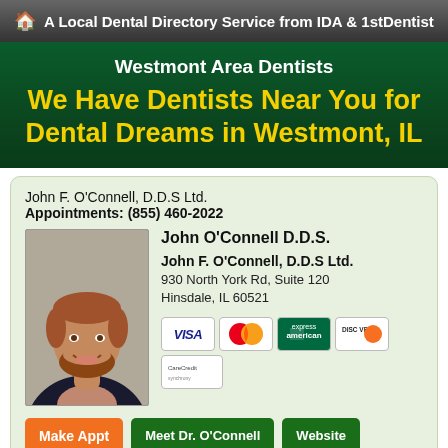🏠 A Local Dental Directory Service from IDA & 1stDentist
Westmont Area Dentists
We Have Dentists Near You for Dental Dreams in Westmont, IL
John F. O'Connell, D.D.S Ltd.
Appointments: (855) 460-2022
[Figure (photo): Headshot of John O'Connell, a man with reddish-brown beard and hair wearing a dark jacket]
John O'Connell D.D.S.
John F. O'Connell, D.D.S Ltd.
930 North York Rd, Suite 120
Hinsdale, IL 60521
[Figure (other): Payment method icons: VISA, MasterCard, American Express, Discover, CareCredit]
Make Appt   Meet Dr. O'Connell   Website
more info...